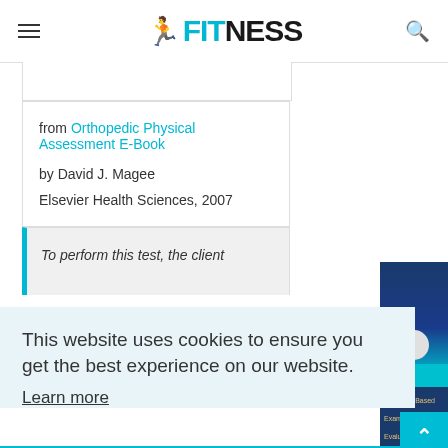FITNESS
from Orthopedic Physical Assessment E-Book by David J. Magee Elsevier Health Sciences, 2007
To perform this test, the client
This website uses cookies to ensure you get the best experience on our website. Learn more
Got it!
minutes.